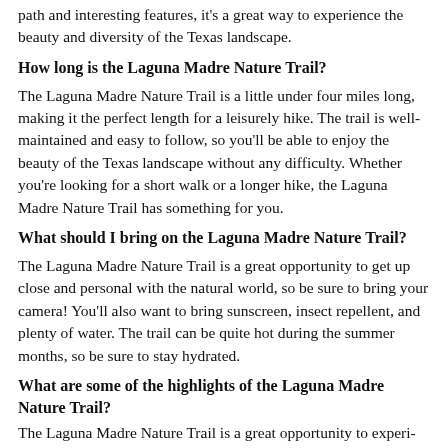path and interesting features, it's a great way to experience the beauty and diversity of the Texas landscape.
How long is the Laguna Madre Nature Trail?
The Laguna Madre Nature Trail is a little under four miles long, making it the perfect length for a leisurely hike. The trail is well-maintained and easy to follow, so you'll be able to enjoy the beauty of the Texas landscape without any difficulty. Whether you're looking for a short walk or a longer hike, the Laguna Madre Nature Trail has something for you.
What should I bring on the Laguna Madre Nature Trail?
The Laguna Madre Nature Trail is a great opportunity to get up close and personal with the natural world, so be sure to bring your camera! You'll also want to bring sunscreen, insect repellent, and plenty of water. The trail can be quite hot during the summer months, so be sure to stay hydrated.
What are some of the highlights of the Laguna Madre Nature Trail?
The Laguna Madre Nature Trail is a great way to experience the beauty and diversity of the Texas landscape.